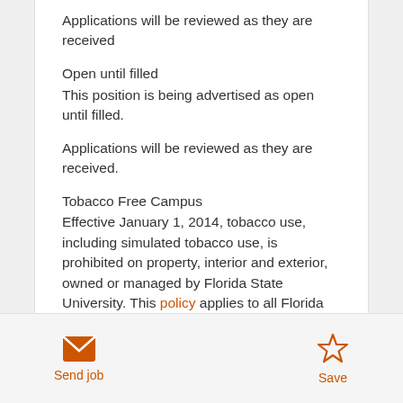Applications will be reviewed as they are received
Open until filled
This position is being advertised as open until filled.
Applications will be reviewed as they are received.
Tobacco Free Campus
Effective January 1, 2014, tobacco use, including simulated tobacco use, is prohibited on property, interior and exterior, owned or managed by Florida State University. This policy applies to all Florida State University students, employees, consultants
Send job  Save